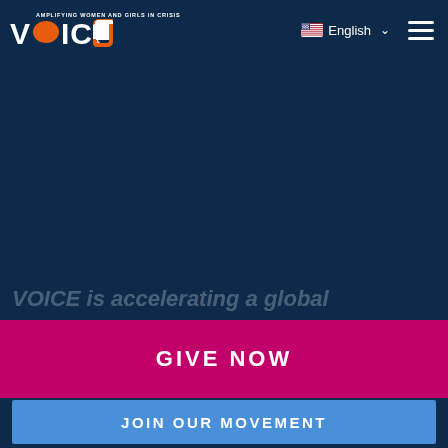[Figure (logo): VOICE logo with orange speech bubble replacing the O, tagline AMPLIFYING WOMEN AND GIRLS IN CRISIS]
English
VOICE is accelerating a global movement powered by women and girls and the organizations...
GIVE NOW
JOIN OUR MOVEMENT